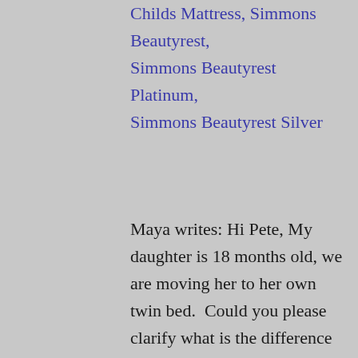Childs Mattress, Simmons Beautyrest, Simmons Beautyrest Platinum, Simmons Beautyrest Silver
Maya writes: Hi Pete, My daughter is 18 months old, we are moving her to her own twin bed.  Could you please clarify what is the difference between these two mattresses and which one you recommend more. 1- Simmons Beautyrest Platinum Gibson Grove Luxury Firm. https://themattressexpert.com/our-brands/simmons/beautyrest-recharge-world-class/ Beautyrest